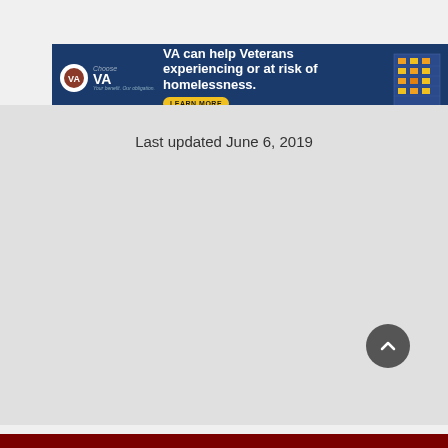[Figure (illustration): Choose VA banner ad: 'VA can help Veterans experiencing or at risk of homelessness.' with a Learn More button and a building illustration on the right side.]
Last updated June 6, 2019